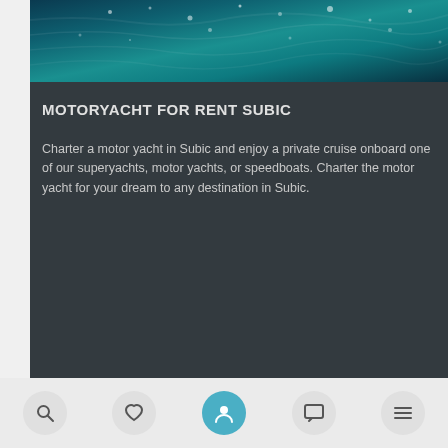[Figure (photo): Aerial view of turquoise ocean water with sunlight sparkles]
MOTORYACHT FOR RENT SUBIC
Charter a motor yacht in Subic and enjoy a private cruise onboard one of our superyachts, motor yachts, or speedboats. Charter the motor yacht for your dream to any destination in Subic.
[Figure (screenshot): Mobile app bottom navigation bar with search, heart/favorite, user profile (active, teal), chat/message, and menu icons]